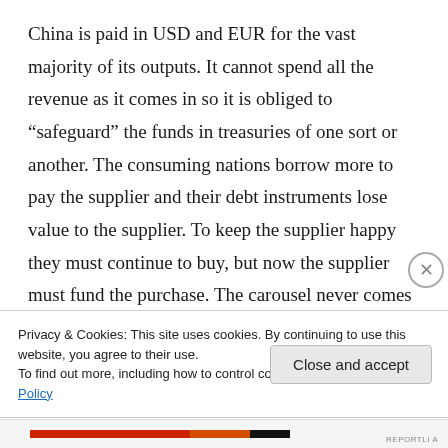China is paid in USD and EUR for the vast majority of its outputs. It cannot spend all the revenue as it comes in so it is obliged to “safeguard” the funds in treasuries of one sort or another. The consuming nations borrow more to pay the supplier and their debt instruments lose value to the supplier. To keep the supplier happy they must continue to buy, but now the supplier must fund the purchase. The carousel never comes to a stop, but unless the riders switch
Privacy & Cookies: This site uses cookies. By continuing to use this website, you agree to their use.
To find out more, including how to control cookies, see here: Cookie Policy
Close and accept